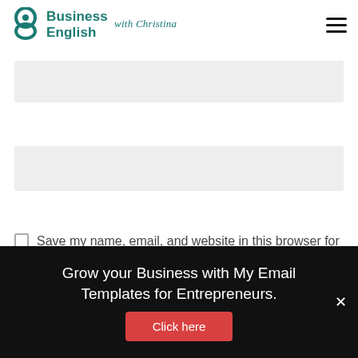Business English with Christina
[Figure (other): Empty input field (light gray rectangle)]
Website
[Figure (other): Empty website input field (light gray rectangle)]
Save my name, email, and website in this browser for the next time I comment.
Grow your Business with My Email Templates for Entrepreneurs.
Click here